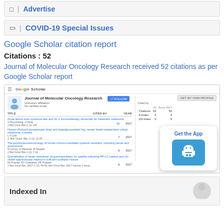Advertise
COVID-19 Special Issues
Google Scholar citation report
Citations : 52
Journal of Molecular Oncology Research received 52 citations as per Google Scholar report
[Figure (screenshot): Screenshot of Google Scholar profile page for Journal of Molecular Oncology Research showing citations table with articles and citation counts, and a Get the App overlay]
Indexed In